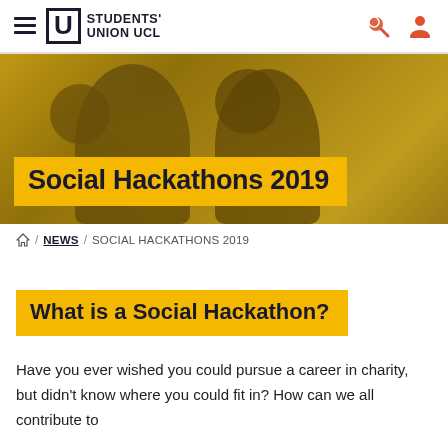Students' Union UCL
[Figure (photo): Two female students sitting and working/smiling, with a golden/amber color overlay. Hero banner image for Social Hackathons 2019 page.]
Social Hackathons 2019
/ NEWS / SOCIAL HACKATHONS 2019
What is a Social Hackathon?
Have you ever wished you could pursue a career in charity, but didn't know where you could fit in? How can we all contribute to